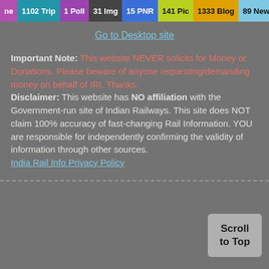ne 1102 Trip | 1 Poll | 31 Img | 15 PNR | 141 Pic | 1333 Blog | 89 News | 3 Topic
Go to Desktop site
Important Note: This website NEVER solicits for Money or Donations. Please beware of anyone requesting/demanding money on behalf of IRI. Thanks. Disclaimer: This website has NO affiliation with the Government-run site of Indian Railways. This site does NOT claim 100% accuracy of fast-changing Rail Information. YOU are responsible for independently confirming the validity of information through other sources.
India Rail Info Privacy Policy